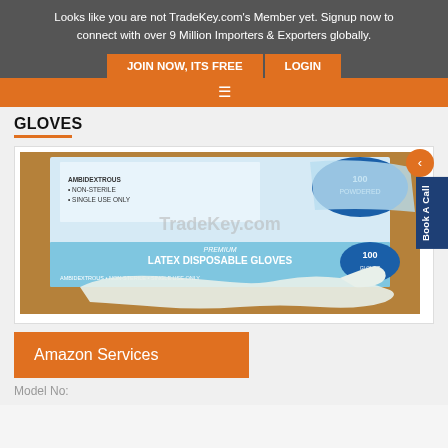Looks like you are not TradeKey.com's Member yet. Signup now to connect with over 9 Million Importers & Exporters globally.
JOIN NOW, ITS FREE | LOGIN
GLOVES
[Figure (photo): Box of 100 Premium Latex Disposable Gloves with a disposable glove laid out in front, watermarked with TradeKey.com]
Amazon Services
Model No: